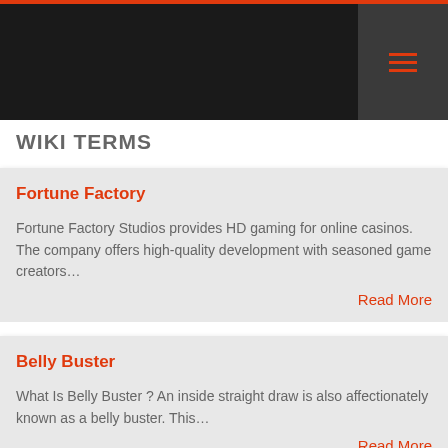WIKI TERMS
Fortune Factory
Fortune Factory Studios provides HD gaming for online casinos. The company offers high-quality development with seasoned game creators…
Read More
Belly Buster
What Is Belly Buster ? An inside straight draw is also affectionately known as a belly buster. This…
Read More